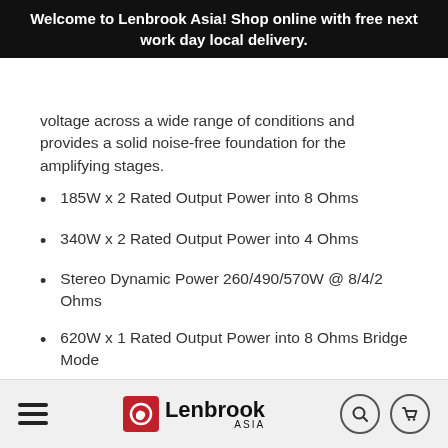Welcome to Lenbrook Asia! Shop online with free next work day local delivery.
voltage across a wide range of conditions and provides a solid noise-free foundation for the amplifying stages.
185W x 2 Rated Output Power into 8 Ohms
340W x 2 Rated Output Power into 4 Ohms
Stereo Dynamic Power 260/490/570W @ 8/4/2 Ohms
620W x 1 Rated Output Power into 8 Ohms Bridge Mode
Mono Dynamic Power 1000/1100W @ 8/4 Ohms
Lenbrook Asia — navigation bar with menu, logo, search and cart icons